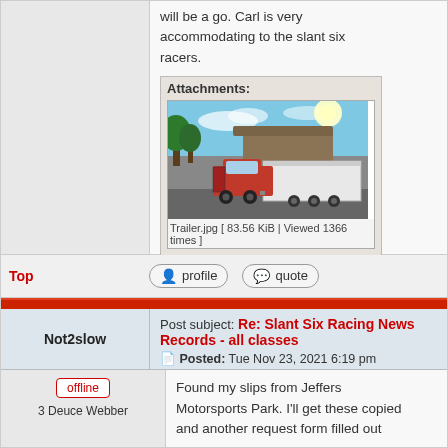will be a go. Carl is very accommodating to the slant six racers.
Attachments:
[Figure (photo): Photo of a red truck hauling a white enclosed trailer parked in a lot, bright sun visible in upper right sky]
Trailer.jpg [ 83.56 KiB | Viewed 1366 times ]
Top
profile
quote
Post subject: Re: Slant Six Racing News Records - all classes
Posted: Tue Nov 23, 2021 6:19 pm
Not2slow
offline
3 Deuce Webber
Found my slips from Jeffers Motorsports Park. I'll get these copied and another request form filled out